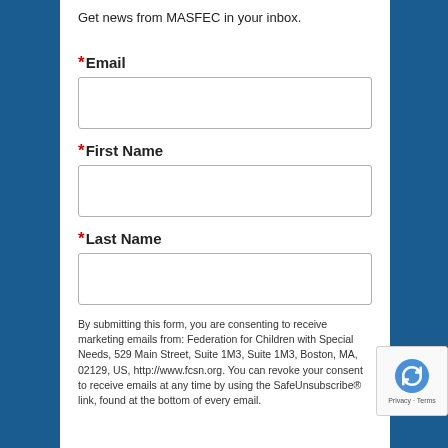Get news from MASFEC in your inbox.
*Email
*First Name
*Last Name
By submitting this form, you are consenting to receive marketing emails from: Federation for Children with Special Needs, 529 Main Street, Suite 1M3, Suite 1M3, Boston, MA, 02129, US, http://www.fcsn.org. You can revoke your consent to receive emails at any time by using the SafeUnsubscribe® link, found at the bottom of every email.